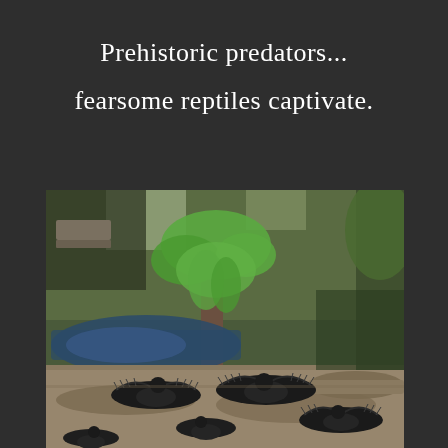Prehistoric predators...
fearsome reptiles captivate.
[Figure (photo): Aerial view of several dark birds (likely vultures or cormorants) with wings spread out on sandy ground near a pond or water feature, with green trees and dappled sunlight in the background. The scene appears to be in a park or zoo setting.]